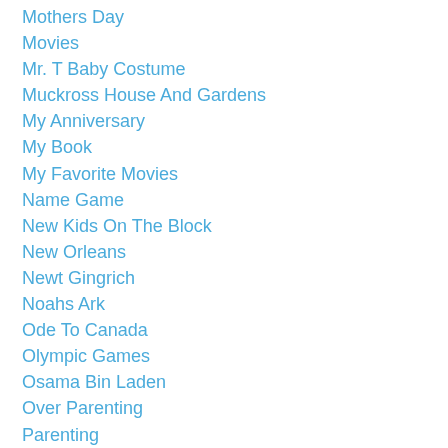Mothers Day
Movies
Mr. T Baby Costume
Muckross House And Gardens
My Anniversary
My Book
My Favorite Movies
Name Game
New Kids On The Block
New Orleans
Newt Gingrich
Noahs Ark
Ode To Canada
Olympic Games
Osama Bin Laden
Over Parenting
Parenting
Paula Deen
Pet Names For Kids
Phoebe Cates
Photos